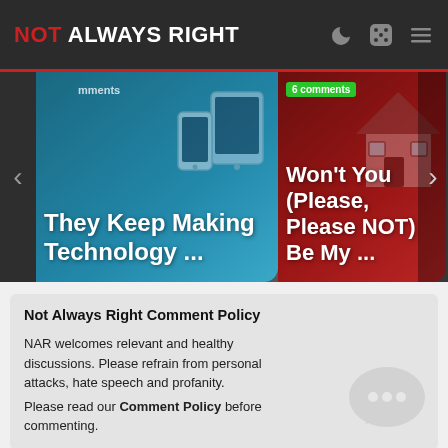NOT ALWAYS RIGHT
[Figure (screenshot): Carousel with two article cards: left card 'They Keep Making Technology ...' on teal background with device illustration; right card 'Won't You (Please, Please NOT) Be My ...' on red background with house illustration. 6 comments badge visible on right card. Navigation arrows on sides.]
Not Always Right Comment Policy
NAR welcomes relevant and healthy discussions. Please refrain from personal attacks, hate speech and profanity.
Please read our Comment Policy before commenting.
Earn badges on Not Always Right!